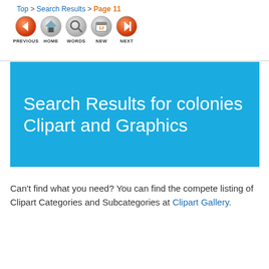Top > Search Results > Page 11
[Figure (screenshot): Navigation bar with PREVIOUS, HOME, WORDS, NEW, NEXT icon buttons]
Search Results for colonies Clipart and Graphics
Can't find what you need? You can find the compete listing of Clipart Categories and Subcategories at Clipart Gallery.